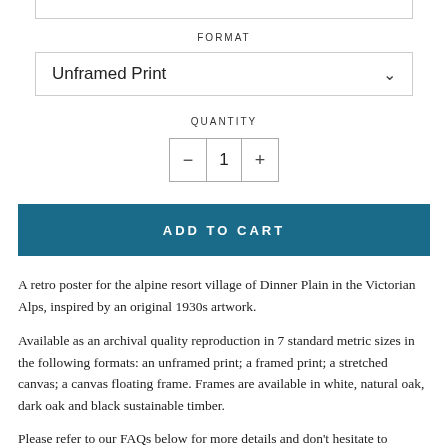FORMAT
Unframed Print
QUANTITY
- 1 +
ADD TO CART
A retro poster for the alpine resort village of Dinner Plain in the Victorian Alps, inspired by an original 1930s artwork.
Available as an archival quality reproduction in 7 standard metric sizes in the following formats: an unframed print; a framed print; a stretched canvas; a canvas floating frame. Frames are available in white, natural oak, dark oak and black sustainable timber.
Please refer to our FAQs below for more details and don't hesitate to